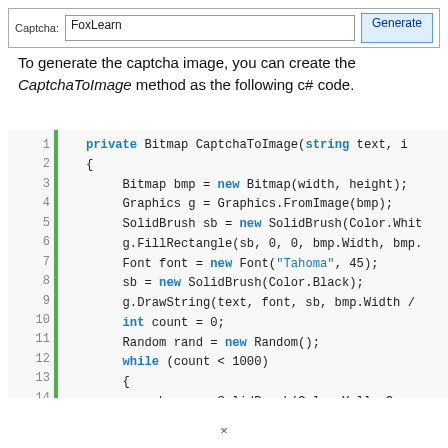[Figure (screenshot): UI form with Captcha label, text input showing 'FoxLearn', and a Generate button]
To generate the captcha image, you can create the CaptchaToImage method as the following c# code.
[Figure (screenshot): C# code block showing CaptchaToImage method with line numbers 1-15 and a green vertical bar. Code includes: private Bitmap CaptchaToImage(string text, in..., Bitmap bmp = new Bitmap(width, height);, Graphics g = Graphics.FromImage(bmp);, SolidBrush sb = new SolidBrush(Color.Whit..., g.FillRectangle(sb, 0, 0, bmp.Width, bmp...., Font font = new Font("Tahoma", 45);, sb = new SolidBrush(Color.Black);, g.DrawString(text, font, sb, bmp.Width /..., int count = 0;, Random rand = new Random();, while (count < 1000), {, sb = new SolidBrush(Color.YellowGreen..., g.FillEllipse(sb, rand.Next(0, bmp.Wi...]
×